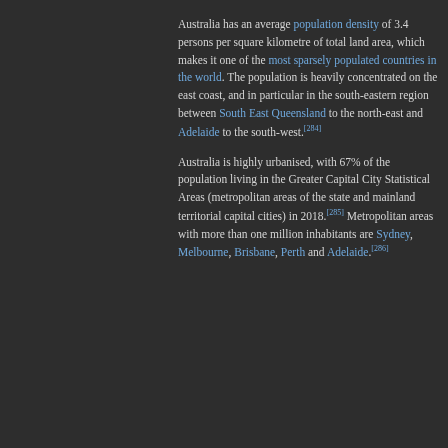Australia has an average population density of 3.4 persons per square kilometre of total land area, which makes it one of the most sparsely populated countries in the world. The population is heavily concentrated on the east coast, and in particular in the south-eastern region between South East Queensland to the north-east and Adelaide to the south-west.[284]
Australia is highly urbanised, with 67% of the population living in the Greater Capital City Statistical Areas (metropolitan areas of the state and mainland territorial capital cities) in 2018.[285] Metropolitan areas with more than one million inhabitants are Sydney, Melbourne, Brisbane, Perth and Adelaide.[286]